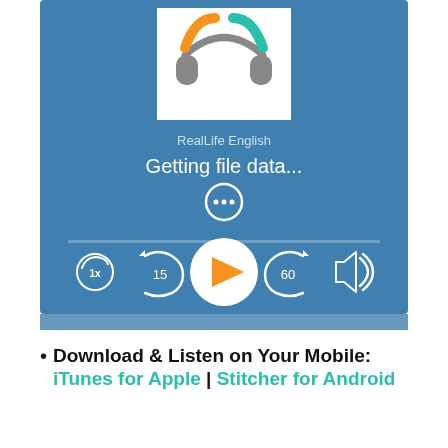[Figure (screenshot): Podcast/audio player UI with blue background showing RealLife English logo (headphones with orange and green arcs), artist name 'RealLife English', track title 'Getting file data...', a more options button (three dots), progress bar area, and playback controls: speed (1x), rewind 15s, play button (orange triangle), forward 60s, and volume icon.]
Download & Listen on Your Mobile: iTunes for Apple | Stitcher for Android